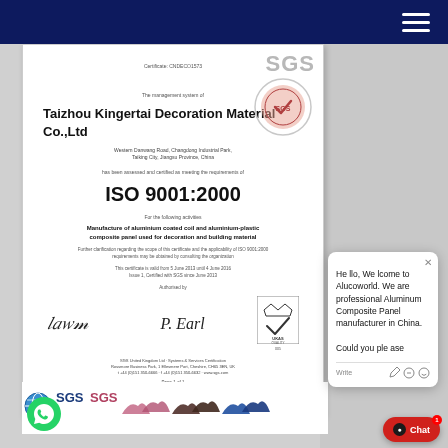Navigation bar with hamburger menu
[Figure (photo): SGS ISO 9001:2000 certificate for Taizhou Kingertai Decoration Material Co., Ltd, including company address, certification scope (Manufacture of aluminium coated coil and aluminium-plastic composite panel used for decoration and building material), validity dates (5 June 2013 to 4 June 2016, Issue 1), authorized signatures, UKAS Quality Management logo, SGS logo, and SGS footer text. Certificate number CNDECO1573.]
[Figure (logo): SGS logo banner at the bottom of the certificate area with globe icon, WhatsApp icon, and repeated SGS/bird logos in various colors (blue, pink, dark)]
Hello, Welcome to Alucoworld. We are professional Aluminum Composite Panel manufacturer in China. Could you please
Write
Chat 1